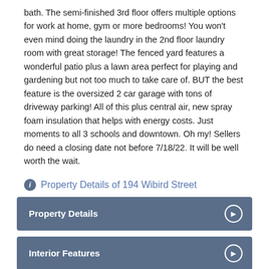bath. The semi-finished 3rd floor offers multiple options for work at home, gym or more bedrooms! You won't even mind doing the laundry in the 2nd floor laundry room with great storage! The fenced yard features a wonderful patio plus a lawn area perfect for playing and gardening but not too much to take care of. BUT the best feature is the oversized 2 car garage with tons of driveway parking! All of this plus central air, new spray foam insulation that helps with energy costs. Just moments to all 3 schools and downtown. Oh my! Sellers do need a closing date not before 7/18/22. It will be well worth the wait.
Property Details of 194 Wibird Street
Property Details
Interior Features
Exterior Features
Utilities and...